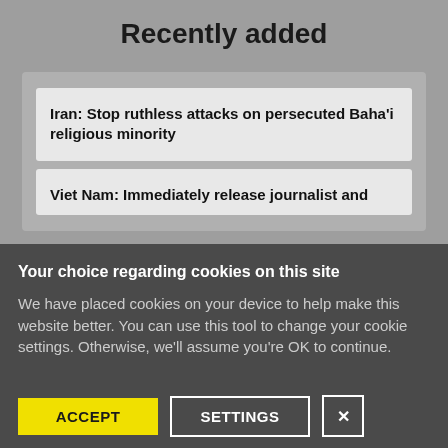Recently added
Iran: Stop ruthless attacks on persecuted Baha'i religious minority
Viet Nam: Immediately release journalist and
Your choice regarding cookies on this site
We have placed cookies on your device to help make this website better. You can use this tool to change your cookie settings. Otherwise, we'll assume you're OK to continue.
ACCEPT | SETTINGS | X